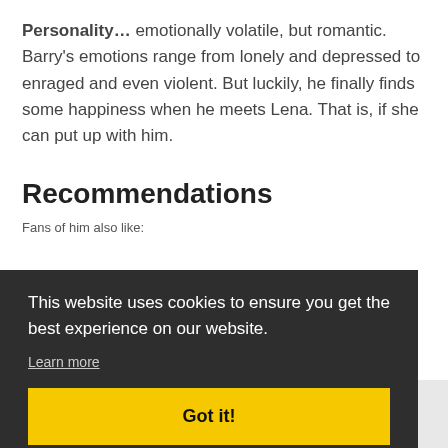Personality… emotionally volatile, but romantic. Barry's emotions range from lonely and depressed to enraged and even violent. But luckily, he finally finds some happiness when he meets Lena. That is, if she can put up with him.
Recommendations
Fans of him also like:
This website uses cookies to ensure you get the best experience on our website.
Learn more
Got it!